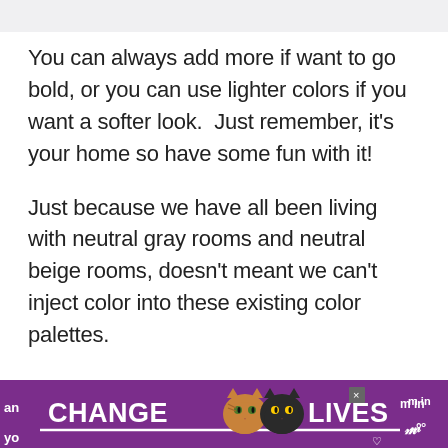[Figure (other): Light gray top bar / header strip]
You can always add more if want to go bold, or you can use lighter colors if you want a softer look.  Just remember, it's your home so have some fun with it!
Just because we have all been living with neutral gray rooms and neutral beige rooms, doesn't meant we can't inject color into these existing color palettes.
***TIP***  You can use these tips to add color to
[Figure (illustration): Purple advertisement banner reading CHANGE [cat faces] LIVES with a white underline, close button (x), and partial text on left and right sides]